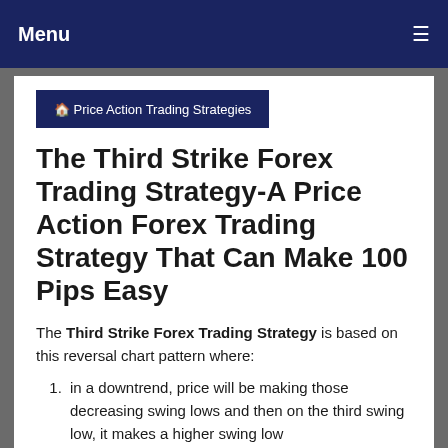Menu
🏠 Price Action Trading Strategies
The Third Strike Forex Trading Strategy-A Price Action Forex Trading Strategy That Can Make 100 Pips Easy
The Third Strike Forex Trading Strategy is based on this reversal chart pattern where:
in a downtrend, price will be making those decreasing swing lows and then on the third swing low, it makes a higher swing low